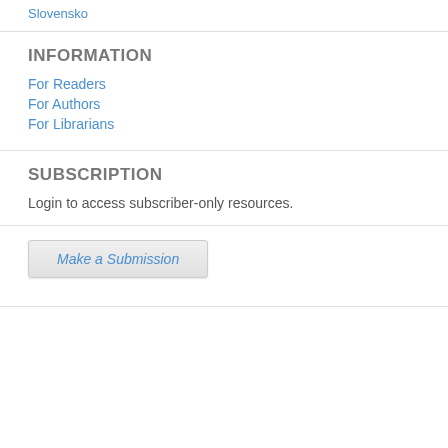Slovensko
INFORMATION
For Readers
For Authors
For Librarians
SUBSCRIPTION
Login to access subscriber-only resources.
Make a Submission